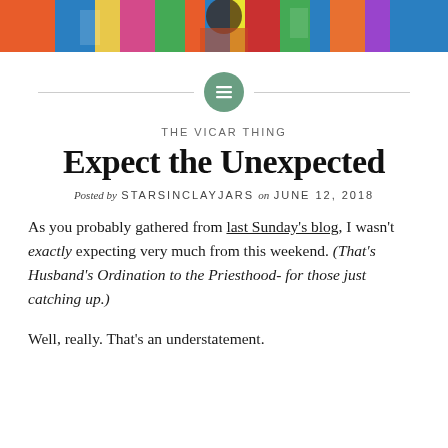[Figure (photo): Colorful banner image at top of blog page, showing children's artwork or colorful decorations in bright blues, yellows, reds, and greens.]
[Figure (logo): Green circle icon with a horizontal lines/menu icon in white, centered with horizontal divider lines on either side.]
THE VICAR THING
Expect the Unexpected
Posted by STARSINCLAYJARS on JUNE 12, 2018
As you probably gathered from last Sunday's blog, I wasn't exactly expecting very much from this weekend. (That's Husband's Ordination to the Priesthood- for those just catching up.)
Well, really. That's an understatement.